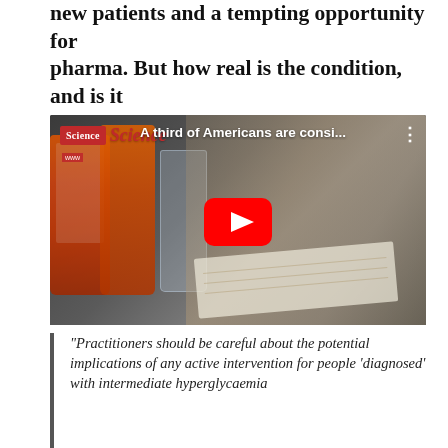new patients and a tempting opportunity for pharma. But how real is the condition, and is it good medicine?
[Figure (screenshot): YouTube video thumbnail showing Science magazine video titled 'A third of Americans are consi...' with a person writing on a notepad and prescription pill bottles in the background. Red YouTube play button in center. Science logo in top-left corner.]
“Practitioners should be careful about the potential implications of any active intervention for people ‘diagnosed’ with intermediate hyperglycaemia